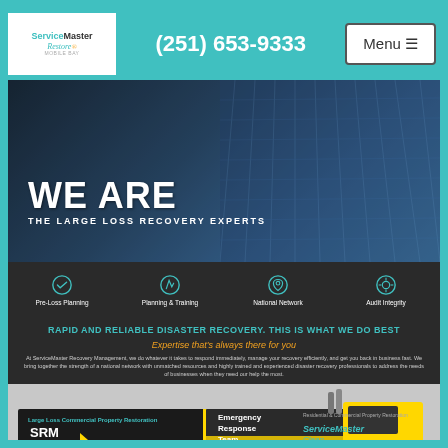(251) 653-9333
[Figure (logo): ServiceMaster Restore logo]
Menu ≡
[Figure (photo): Hero banner with tall glass building and overlay text: WE ARE THE LARGE LOSS RECOVERY EXPERTS]
WE ARE
THE LARGE LOSS RECOVERY EXPERTS
[Figure (infographic): Icon bar with four icons: Pre-Loss Planning, Planning & Training, National Network, Audit Integrity]
RAPID AND RELIABLE DISASTER RECOVERY. THIS IS WHAT WE DO BEST
Expertise that's always there for you
At ServiceMaster Recovery Management, we do whatever it takes to respond immediately, manage your recovery efficiently, and get you back in business fast. We bring together the strength of a national network with unmatched resources and highly trained and experienced disaster recovery professionals to address the needs of businesses when they need our help the most.
[Figure (photo): Yellow and black SRM Emergency Response Team semi-truck and trailer. Text on trailer: Emergency Response Team, ServiceMaster Clean, (251) 653-9333, Large Loss Commercial Property Restoration. SRM logo on cab side.]
WHAT WE DO
STABILIZATION
ENVIRONMENTAL
GLOBAL RECOVERY
PRE-LOSS
NATURAL DISASTERS
CONTENT RESTORATION
WHO WE SERVE
BUSINESS
HEALTHCARE
EDUCATION
PROPERTY MANAGEMENT
RETAIL
HOSPITALITY
GOVERNMENT
PLACES OF WORSHIP